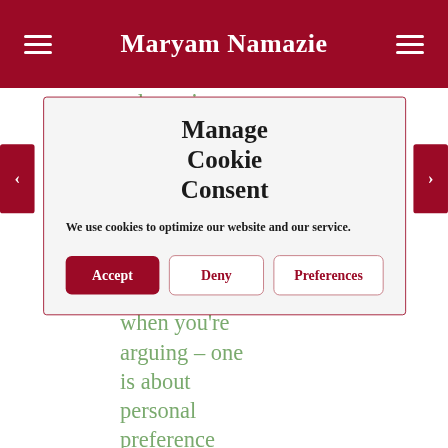Maryam Namazie
above is a different line
Manage Cookie Consent
We use cookies to optimize our website and our service.
Accept | Deny | Preferences
when you're arguing - one is about personal preference